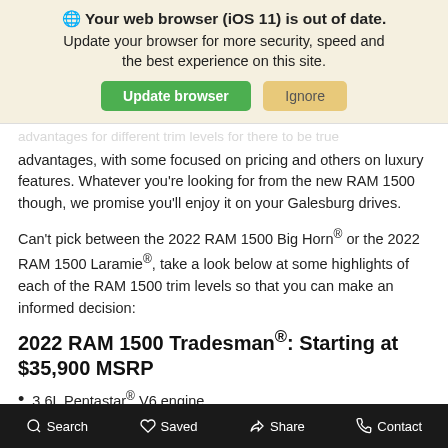🌐 Your web browser (iOS 11) is out of date. Update your browser for more security, speed and the best experience on this site.
advantages, with some focused on pricing and others on luxury features. Whatever you're looking for from the new RAM 1500 though, we promise you'll enjoy it on your Galesburg drives.
Can't pick between the 2022 RAM 1500 Big Horn® or the 2022 RAM 1500 Laramie®, take a look below at some highlights of each of the RAM 1500 trim levels so that you can make an informed decision:
2022 RAM 1500 Tradesman®: Starting at $35,900 MSRP
3.6L Pentastar® V6 engine
ParkView® rear backup camera
Uconnect® 5
Search   Saved   Share   Contact